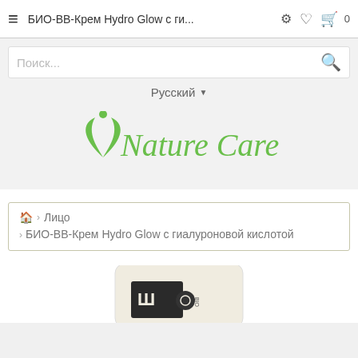БИО-ВВ-Крем Hydro Glow с ги...
Поиск...
Русский
[Figure (logo): Nature Care brand logo with green leaf and figure icon above stylized cursive text 'Nature Care']
🏠 › Лицо › БИО-ВВ-Крем Hydro Glow с гиалуроновой кислотой
[Figure (photo): Product image of BIO-BB-Cream Hydro Glow with hyaluronic acid, partially visible at bottom of screen]